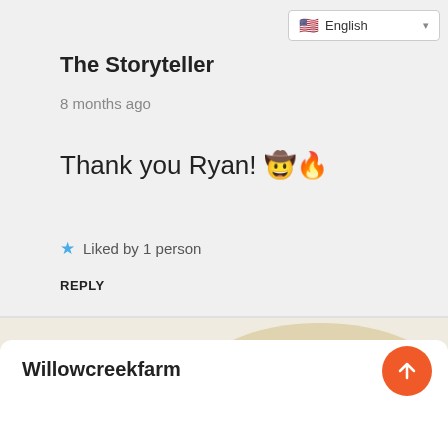[Figure (screenshot): Language selector dropdown showing English with US flag]
The Storyteller
8 months ago
Thank you Ryan! 🤠🔥
★ Liked by 1 person
REPLY
[Figure (photo): Sandy/beach background with user avatar placeholder circle]
Willowcreekfarm